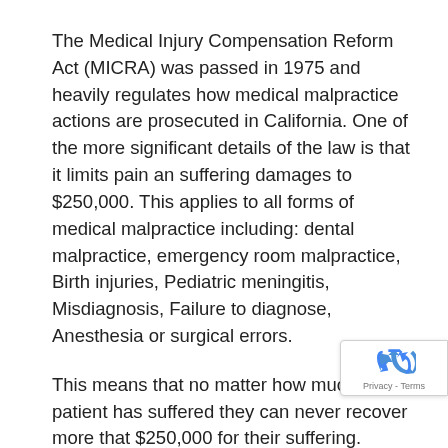The Medical Injury Compensation Reform Act (MICRA) was passed in 1975 and heavily regulates how medical malpractice actions are prosecuted in California. One of the more significant details of the law is that it limits pain an suffering damages to $250,000. This applies to all forms of medical malpractice including: dental malpractice, emergency room malpractice, Birth injuries, Pediatric meningitis, Misdiagnosis, Failure to diagnose, Anesthesia or surgical errors.
This means that no matter how much the patient has suffered they can never recover more that $250,000 for their suffering. Thus, a young child who, because of medical malpractice, will goes blind, can never be awarded over $250,000 in pain and suffering.  This stands in stark contrast to ordinary negligence where there is no cap.  So, if someone was to spill very hot coffee on themselves they would technically be able to
[Figure (other): reCAPTCHA badge with recycling-arrow logo icon and 'Privacy - Terms' text]